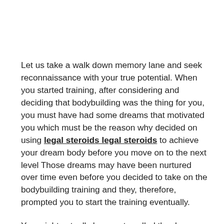Let us take a walk down memory lane and seek reconnaissance with your true potential. When you started training, after considering and deciding that bodybuilding was the thing for you, you must have had some dreams that motivated you which must be the reason why decided on using legal steroids legal steroids to achieve your dream body before you move on to the next level Those dreams may have been nurtured over time even before you decided to take on the bodybuilding training and they, therefore, prompted you to start the training eventually.
You might actually have not spelled the dreams in black and white but there was that image of the ideal physique that you wanted to build. Some muscles you